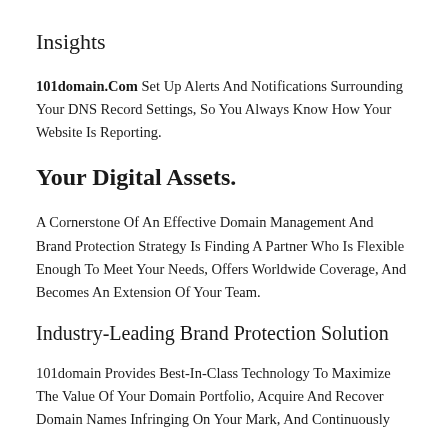Insights
101domain.Com Set Up Alerts And Notifications Surrounding Your DNS Record Settings, So You Always Know How Your Website Is Reporting.
Your Digital Assets.
A Cornerstone Of An Effective Domain Management And Brand Protection Strategy Is Finding A Partner Who Is Flexible Enough To Meet Your Needs, Offers Worldwide Coverage, And Becomes An Extension Of Your Team.
Industry-Leading Brand Protection Solution
101domain Provides Best-In-Class Technology To Maximize The Value Of Your Domain Portfolio, Acquire And Recover Domain Names Infringing On Your Mark, And Continuously